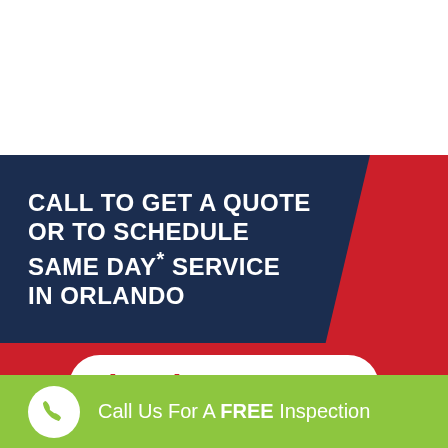[Figure (photo): White background top section of advertisement]
CALL TO GET A QUOTE OR TO SCHEDULE SAME DAY* SERVICE IN ORLANDO
(407) 863-3592
Call Us For A FREE Inspection